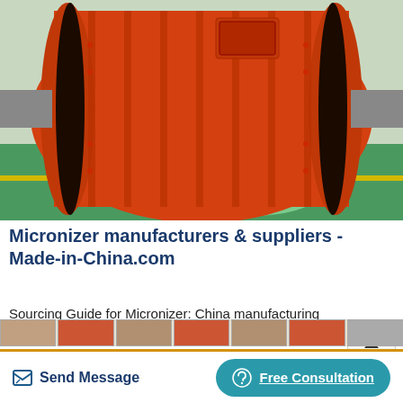[Figure (photo): Large orange industrial ball mill / drum machine sitting on a green factory floor. The cylindrical vessel is bolted together with flanges and has orange paint with black rubber end rings.]
Micronizer manufacturers & suppliers - Made-in-China.com
Sourcing Guide for Micronizer: China manufacturing industries are full of strong and consistent exporters. We are here to bring together China factories that supply manufacturing
[Figure (screenshot): Partial thumbnail strip of product images at the bottom of the page, partially cut off.]
Send Message   Free Consultation